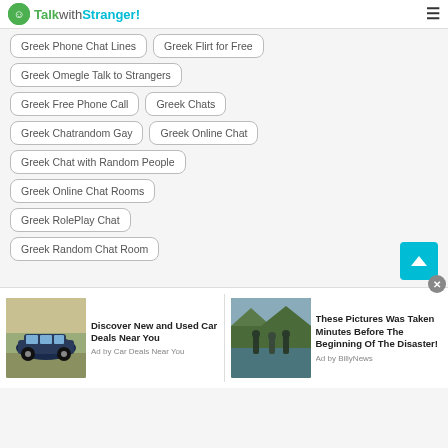TalkwithStranger!
Greek Phone Chat Lines
Greek Flirt for Free
Greek Omegle Talk to Strangers
Greek Free Phone Call
Greek Chats
Greek Chatrandom Gay
Greek Online Chat
Greek Chat with Random People
Greek Online Chat Rooms
Greek RolePlay Chat
Greek Random Chat Room
[Figure (photo): Advertisement: SUV car in desert. Discover New and Used Car Deals Near You. Ad by Car Deals Near You]
[Figure (photo): Advertisement: People wading through river. These Pictures Was Taken Minutes Before The Beginning Of The Disaster! Ad by BillyNews]